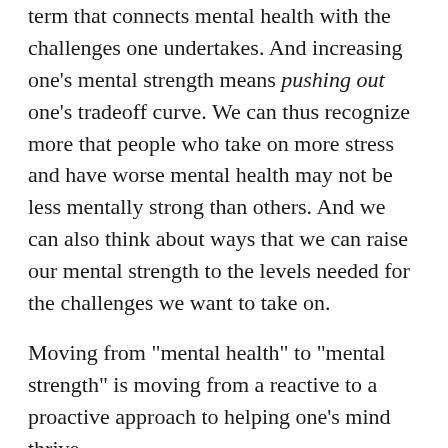term that connects mental health with the challenges one undertakes. And increasing one's mental strength means pushing out one's tradeoff curve. We can thus recognize more that people who take on more stress and have worse mental health may not be less mentally strong than others. And we can also think about ways that we can raise our mental strength to the levels needed for the challenges we want to take on.
Moving from "mental health" to "mental strength" is moving from a reactive to a proactive approach to helping one's mind thrive.
PS: It seems absolutely ok for somebody to decide that their path to mental health shall be to stay away from challenges rather than to build mental strength. And definitely there will be cases where quitting a challenging situation is the right move to preserve and restore one's mental health. I do think that combine with the mental